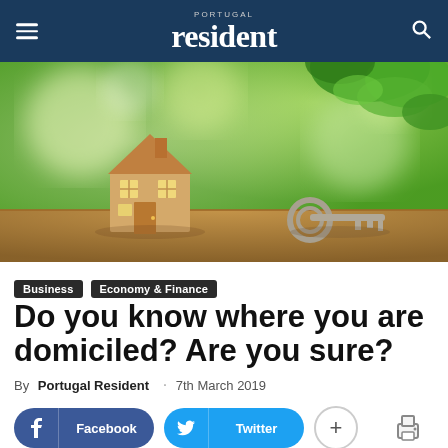Portugal resident
[Figure (photo): A wooden toy house model next to a set of keys on a wooden surface, with a green bokeh leafy background. Warm natural lighting.]
Business  Economy & Finance
Do you know where you are domiciled? Are you sure?
By Portugal Resident · 7th March 2019
Facebook  Twitter  +